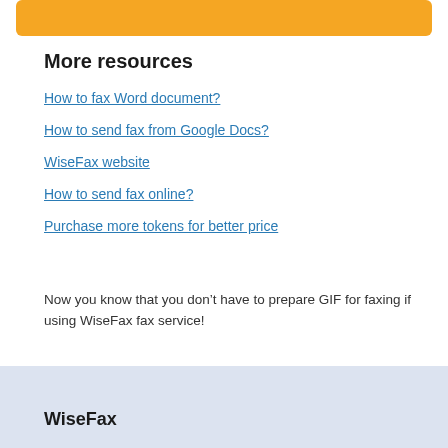[Figure (other): Orange rounded button/bar at top of page]
More resources
How to fax Word document?
How to send fax from Google Docs?
WiseFax website
How to send fax online?
Purchase more tokens for better price
Now you know that you don’t have to prepare GIF for faxing if using WiseFax fax service!
WiseFax